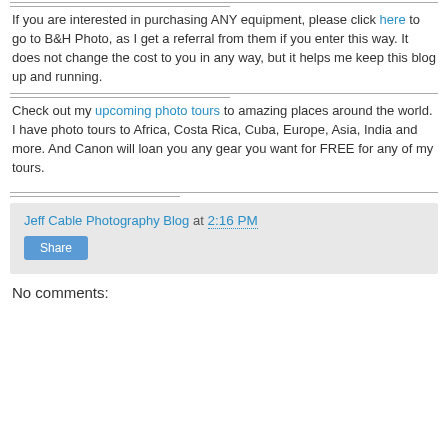If you are interested in purchasing ANY equipment, please click here to go to B&H Photo, as I get a referral from them if you enter this way. It does not change the cost to you in any way, but it helps me keep this blog up and running.
Check out my upcoming photo tours to amazing places around the world. I have photo tours to Africa, Costa Rica, Cuba, Europe, Asia, India and more. And Canon will loan you any gear you want for FREE for any of my tours.
Jeff Cable Photography Blog at 2:16 PM
No comments: